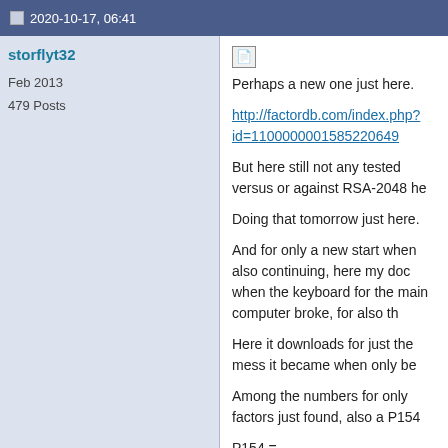2020-10-17, 06:41
storflyt32
Feb 2013
479 Posts
Perhaps a new one just here.

http://factordb.com/index.php?id=1100000001585220649

But here still not any tested versus or against RSA-2048 he

Doing that tomorrow just here.

And for only a new start when also continuing, here my doc when the keyboard for the main computer broke, for also th

Here it downloads for just the mess it became when only be

Among the numbers for only factors just found, also a P154

P154 = 35400593470787613146647482386756682499789239934

Should tell that I had the Magic number dividing with a facto

Here only so close, when also uneven, for that of a P103 ve

Doing so for also RSA-2048, and not any far away just here